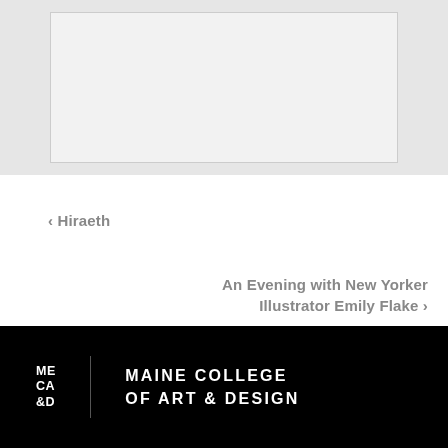[Figure (photo): Light gray placeholder image area with inner white/light frame, representing a photograph or artwork]
‹ Hiraeth
An Evening with New Yorker Illustrator Emily Flake ›
MECA&D | MAINE COLLEGE OF ART & DESIGN